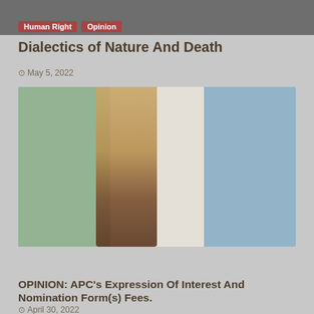[Figure (screenshot): Top card with Human Right and Opinion tags on dark background]
Dialectics of Nature And Death
May 5, 2022
[Figure (photo): Image showing a hand holding wheat stalks against a Nigeria flag background (green-white-blue sections). Tags: Election, Opinion, Politics on a red bar. APC logo text partially visible at bottom.]
OPINION: APC's Expression Of Interest And Nomination Form(s) Fees.
April 30, 2022
[Figure (photo): Partially visible image at the bottom of the page]